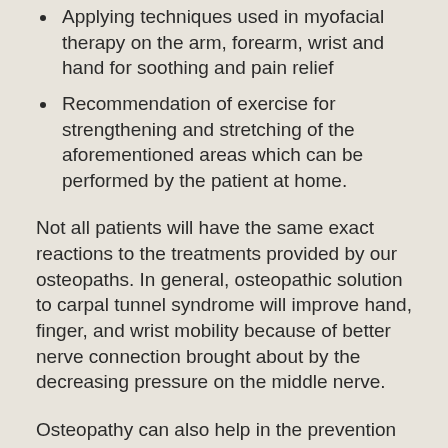Applying techniques used in myofacial therapy on the arm, forearm, wrist and hand for soothing and pain relief
Recommendation of exercise for strengthening and stretching of the aforementioned areas which can be performed by the patient at home.
Not all patients will have the same exact reactions to the treatments provided by our osteopaths. In general, osteopathic solution to carpal tunnel syndrome will improve hand, finger, and wrist mobility because of better nerve connection brought about by the decreasing pressure on the middle nerve.
Osteopathy can also help in the prevention of carpal tunnel syndrome, coupled with enough rest from hand work, hand stretching exercises, and the application of proper hand posture and wrist orientation when working.
For further information or to consult with one of